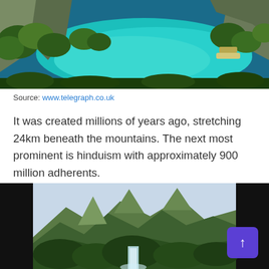[Figure (photo): Aerial view of a tropical turquoise lagoon surrounded by karst limestone cliffs and lush green vegetation with boats visible]
Source: www.telegraph.co.uk
It was created millions of years ago, stretching 24km beneath the mountains. The next most prominent is hinduism with approximately 900 million adherents.
[Figure (photo): Panoramic view of green karst mountains with a waterfall and dense tropical forest vegetation]